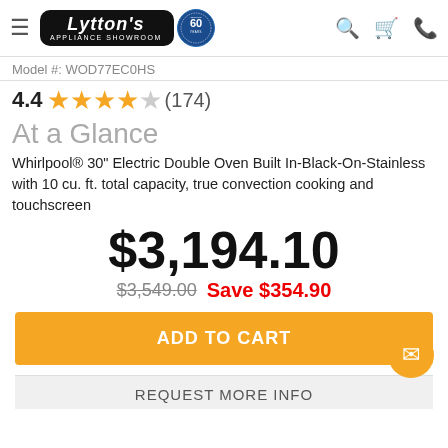Lytton's Appliance Showroom
Model #: WOD77EC0HS
4.4 (174)
At a Glance
Whirlpool® 30" Electric Double Oven Built In-Black-On-Stainless with 10 cu. ft. total capacity, true convection cooking and touchscreen
$3,194.10
$3,549.00  Save $354.90
ADD TO CART
REQUEST MORE INFO